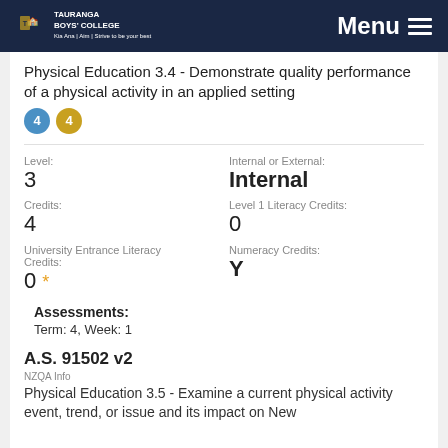TAURANGA BOYS' COLLEGE — Menu
Physical Education 3.4 - Demonstrate quality performance of a physical activity in an applied setting
Level: 3
Internal or External: Internal
Credits: 4
Level 1 Literacy Credits: 0
University Entrance Literacy Credits: 0 *
Numeracy Credits: Y
Assessments:
Term: 4, Week: 1
A.S. 91502 v2
NZQA Info
Physical Education 3.5 - Examine a current physical activity event, trend, or issue and its impact on New